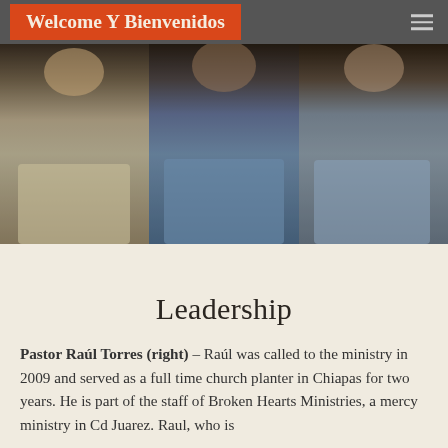Welcome Y Bienvenidos
[Figure (photo): Three men standing side by side in a dark room. Left person wears a beige polo shirt, center person wears a blue denim shirt, right person wears a light blue checkered shirt.]
Leadership
Pastor Raúl Torres (right) – Raúl was called to the ministry in 2009 and served as a full time church planter in Chiapas for two years. He is part of the staff of Broken Hearts Ministries, a mercy ministry in Cd Juarez. Raul, who is